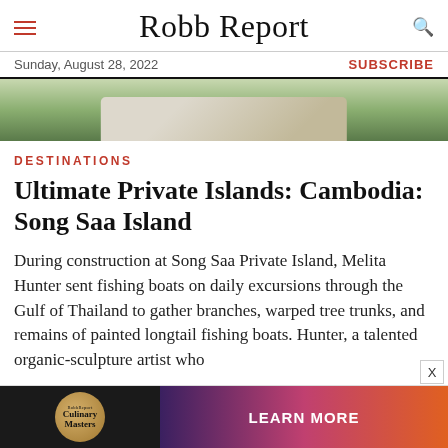Robb Report
Sunday, August 28, 2022 | SUBSCRIBE
[Figure (photo): Partial hero image showing greenery and a curved architectural element, cropped at top]
DESTINATIONS
Ultimate Private Islands: Cambodia: Song Saa Island
During construction at Song Saa Private Island, Melita Hunter sent fishing boats on daily excursions through the Gulf of Thailand to gather branches, warped tree trunks, and remains of painted longtail fishing boats. Hunter, a talented organic-sculpture artist who
[Figure (infographic): Advertisement bar for Robb Report Culinary Masters with logo on dark background on left and sunset beach photo with LEARN MORE button on right]